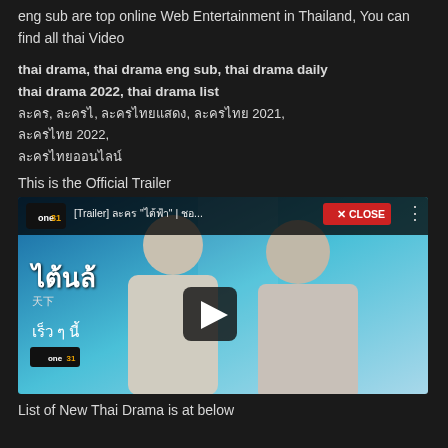eng sub are top online Web Entertainment in Thailand, You can find all thai Video
thai drama, thai drama eng sub, thai drama daily
thai drama 2022, thai drama list
[Thai characters], [Thai characters], [Thai characters], [Thai characters] 2021,
[Thai characters] 2022,
[Thai characters]
This is the Official Trailer
[Figure (screenshot): YouTube video thumbnail for a Thai drama trailer on One31 channel. Shows two people, Thai text overlay, play button in center, X CLOSE button top right.]
List of New Thai Drama is at below
...